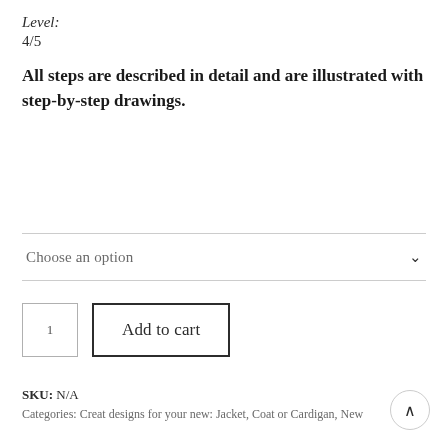Level:
4/5
All steps are described in detail and are illustrated with step-by-step drawings.
Choose an option
1  Add to cart
SKU: N/A
Categories: Creat designs for your new: Jacket, Coat or Cardigan, New